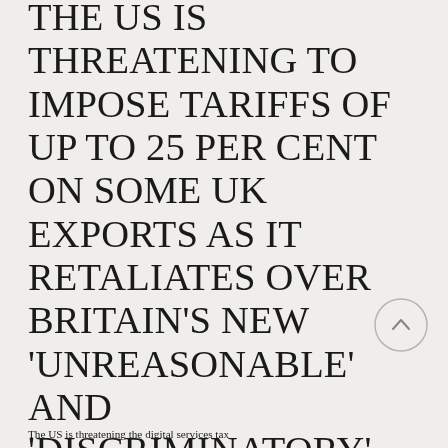THE US IS THREATENING TO IMPOSE TARIFFS OF UP TO 25 PER CENT ON SOME UK EXPORTS AS IT RETALIATES OVER BRITAIN'S NEW 'UNREASONABLE' AND 'DISCRIMINATORY' TAX ON BIG TECH FIRMS.
The US is threatening the digital services tax...